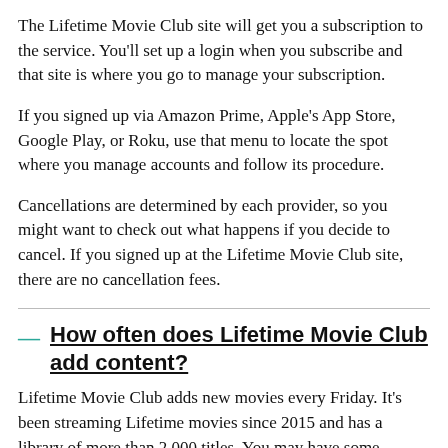The Lifetime Movie Club site will get you a subscription to the service. You'll set up a login when you subscribe and that site is where you go to manage your subscription.
If you signed up via Amazon Prime, Apple's App Store, Google Play, or Roku, use that menu to locate the spot where you manage accounts and follow its procedure.
Cancellations are determined by each provider, so you might want to check out what happens if you decide to cancel. If you signed up at the Lifetime Movie Club site, there are no cancellation fees.
How often does Lifetime Movie Club add content?
Lifetime Movie Club adds new movies every Friday. It's been streaming Lifetime movies since 2015 and has a library of more than 2,000 titles. You may have some catching up to do.